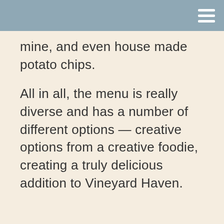mine, and even house made potato chips.
All in all, the menu is really diverse and has a number of different options — creative options from a creative foodie, creating a truly delicious addition to Vineyard Haven.